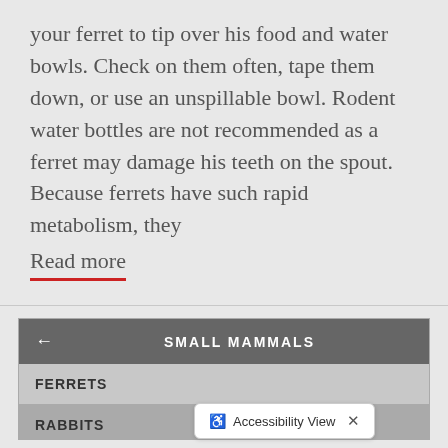your ferret to tip over his food and water bowls. Check on them often, tape them down, or use an unspillable bowl. Rodent water bottles are not recommended as a ferret may damage his teeth on the spout. Because ferrets have such rapid metabolism, they
Read more
SMALL MAMMALS
FERRETS
RABBITS
DOMESTICATED ANIMA...